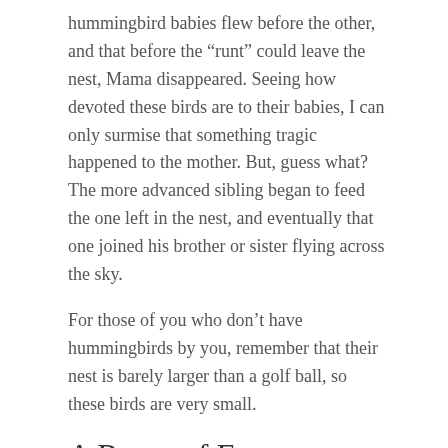hummingbird babies flew before the other, and that before the “runt” could leave the nest, Mama disappeared. Seeing how devoted these birds are to their babies, I can only surmise that something tragic happened to the mother. But, guess what? The more advanced sibling began to feed the one left in the nest, and eventually that one joined his brother or sister flying across the sky.
For those of you who don’t have hummingbirds by you, remember that their nest is barely larger than a golf ball, so these birds are very small.
A Route of Evanescence
BY EMILY DICKINSON
A Route of Evanescence,